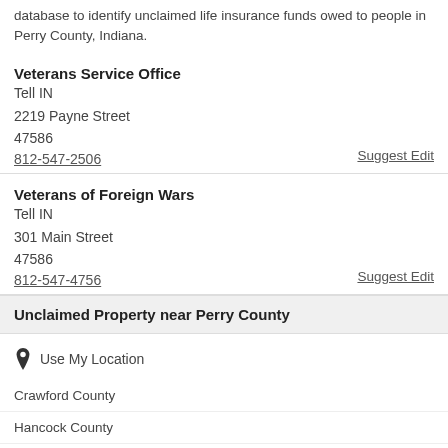database to identify unclaimed life insurance funds owed to people in Perry County, Indiana.
Veterans Service Office
Tell IN
2219 Payne Street
47586
812-547-2506
Suggest Edit
Veterans of Foreign Wars
Tell IN
301 Main Street
47586
812-547-4756
Suggest Edit
Unclaimed Property near Perry County
Use My Location
Crawford County
Hancock County